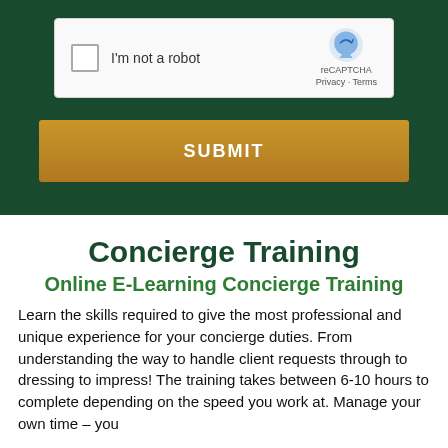[Figure (screenshot): reCAPTCHA widget showing a checkbox labeled 'I'm not a robot' with the reCAPTCHA logo, Privacy and Terms links on a light background, displayed inside a dark green form section]
[Figure (other): Gold/amber SUBMIT button on dark green background]
Concierge Training
Online E-Learning Concierge Training
Learn the skills required to give the most professional and unique experience for your concierge duties. From understanding the way to handle client requests through to dressing to impress! The training takes between 6-10 hours to complete depending on the speed you work at. Manage your own time – you